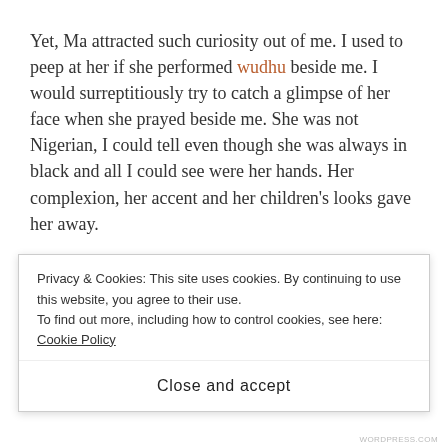Yet, Ma attracted such curiosity out of me. I used to peep at her if she performed wudhu beside me. I would surreptitiously try to catch a glimpse of her face when she prayed beside me. She was not Nigerian, I could tell even though she was always in black and all I could see were her hands. Her complexion, her accent and her children's looks gave her away.

I think I was eight or nine when this family came in quite late. Classes were in progress in an open space (we had
Privacy & Cookies: This site uses cookies. By continuing to use this website, you agree to their use.
To find out more, including how to control cookies, see here: Cookie Policy
Close and accept